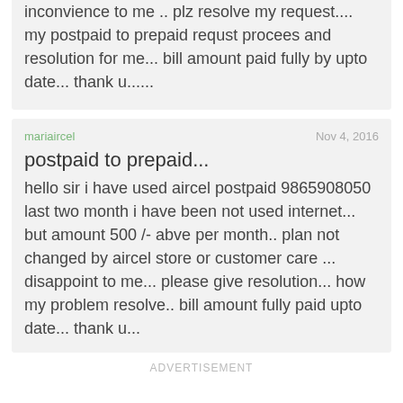inconvience to me .. plz resolve my request.... my postpaid to prepaid requst procees and resolution for me... bill amount paid fully by upto date... thank u......
mariaircel
Nov 4, 2016
postpaid to prepaid...
hello sir i have used aircel postpaid 9865908050 last two month i have been not used internet... but amount 500 /- abve per month.. plan not changed by aircel store or customer care ... disappoint to me... please give resolution... how my problem resolve.. bill amount fully paid upto date... thank u...
ADVERTISEMENT